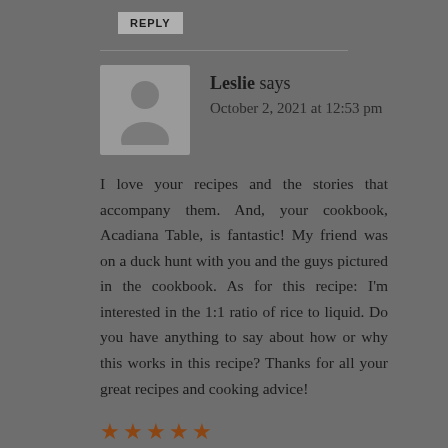REPLY
Leslie says
October 2, 2021 at 12:53 pm
I love your recipes and the stories that accompany them. And, your cookbook, Acadiana Table, is fantastic! My friend was on a duck hunt with you and the guys pictured in the cookbook. As for this recipe: I'm interested in the 1:1 ratio of rice to liquid. Do you have anything to say about how or why this works in this recipe? Thanks for all your great recipes and cooking advice!
★★★★★
REPLY
George Graham says